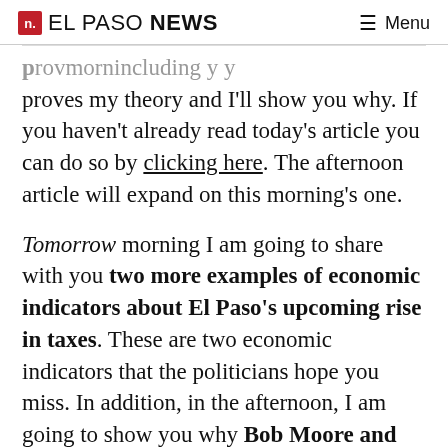EL PASO NEWS — Menu
proves my theory and I'll show you why. If you haven't already read today's article you can do so by clicking here. The afternoon article will expand on this morning's one.
Tomorrow morning I am going to share with you two more examples of economic indicators about El Paso's upcoming rise in taxes. These are two economic indicators that the politicians hope you miss. In addition, in the afternoon, I am going to show you why Bob Moore and certain individuals owe Stephanie Townsend Allala an apology.